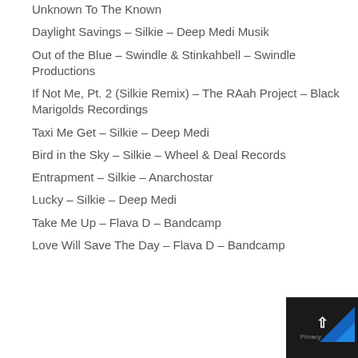Unknown To The Known
Daylight Savings – Silkie – Deep Medi Musik
Out of the Blue – Swindle & Stinkahbell – Swindle Productions
If Not Me, Pt. 2 (Silkie Remix) – The RAah Project – Black Marigolds Recordings
Taxi Me Get – Silkie – Deep Medi
Bird in the Sky – Silkie – Wheel & Deal Records
Entrapment – Silkie – Anarchostar
Lucky – Silkie – Deep Medi
Take Me Up – Flava D – Bandcamp
Love Will Save The Day – Flava D – Bandcamp